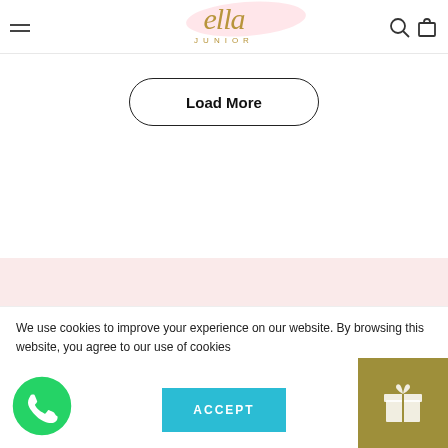Ella Junior — website header with logo, hamburger menu, search and cart icons
[Figure (logo): Ella Junior cursive logo in gold/olive color with pink watercolor splash background, word JUNIOR in spaced capitals below]
Load More
GET IN TOUCH
MENU
We use cookies to improve your experience on our website. By browsing this website, you agree to our use of cookies
ACCEPT
[Figure (logo): WhatsApp green circular button icon]
[Figure (illustration): Olive/gold square gift icon button]